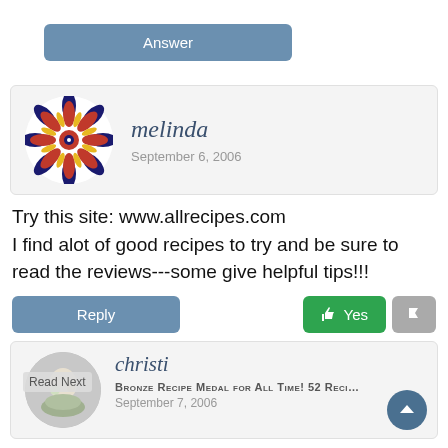Answer
[Figure (illustration): Decorative mandala/tile avatar for user melinda — red, yellow, dark blue floral geometric pattern]
melinda
September 6, 2006
Try this site: www.allrecipes.com
I find alot of good recipes to try and be sure to read the reviews---some give helpful tips!!!
Reply
Yes
[Figure (photo): Food photo thumbnail, appears to show a salad dish]
Read Next
christi
Bronze Recipe Medal for All Time! 52 Reci…
September 7, 2006